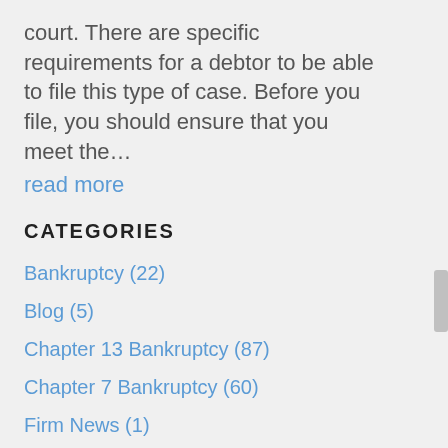court. There are specific requirements for a debtor to be able to file this type of case. Before you file, you should ensure that you meet the… read more
CATEGORIES
Bankruptcy (22)
Blog (5)
Chapter 13 Bankruptcy (87)
Chapter 7 Bankruptcy (60)
Firm News (1)